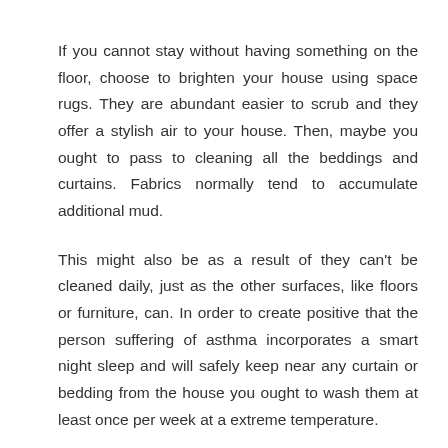If you cannot stay without having something on the floor, choose to brighten your house using space rugs. They are abundant easier to scrub and they offer a stylish air to your house. Then, maybe you ought to pass to cleaning all the beddings and curtains. Fabrics normally tend to accumulate additional mud.
This might also be as a result of they can't be cleaned daily, just as the other surfaces, like floors or furniture, can. In order to create positive that the person suffering of asthma incorporates a smart night sleep and will safely keep near any curtain or bedding from the house you ought to wash them at least once per week at a extreme temperature.